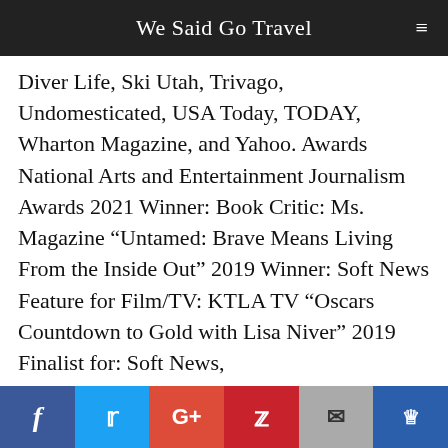We Said Go Travel
Diver Life, Ski Utah, Trivago, Undomesticated, USA Today, TODAY, Wharton Magazine, and Yahoo. Awards National Arts and Entertainment Journalism Awards 2021 Winner: Book Critic: Ms. Magazine “Untamed: Brave Means Living From the Inside Out” 2019 Winner: Soft News Feature for Film/TV: KTLA TV “Oscars Countdown to Gold with Lisa Niver” 2019 Finalist for: Soft News, Business/Music/Tech/Art Southern California Journalism Awards